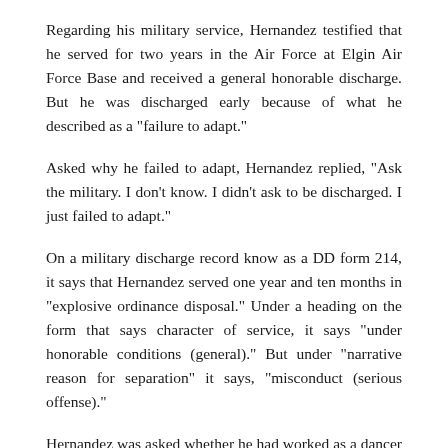Regarding his military service, Hernandez testified that he served for two years in the Air Force at Elgin Air Force Base and received a general honorable discharge. But he was discharged early because of what he described as a "failure to adapt."
Asked why he failed to adapt, Hernandez replied, "Ask the military. I don't know. I didn't ask to be discharged. I just failed to adapt."
On a military discharge record know as a DD form 214, it says that Hernandez served one year and ten months in "explosive ordinance disposal." Under a heading on the form that says character of service, it says "under honorable conditions (general)." But under "narrative reason for separation" it says, "misconduct (serious offense)."
Hernandez was asked whether he had worked as a dancer anywhere.